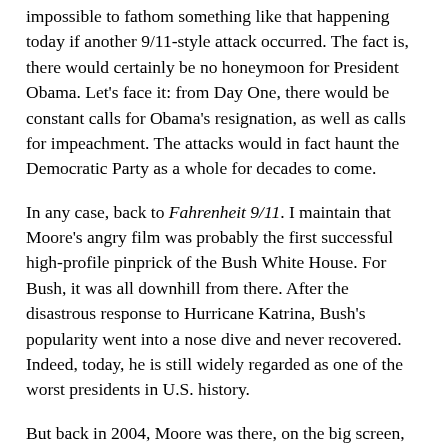impossible to fathom something like that happening today if another 9/11-style attack occurred. The fact is, there would certainly be no honeymoon for President Obama. Let's face it: from Day One, there would be constant calls for Obama's resignation, as well as calls for impeachment. The attacks would in fact haunt the Democratic Party as a whole for decades to come.
In any case, back to Fahrenheit 9/11. I maintain that Moore's angry film was probably the first successful high-profile pinprick of the Bush White House. For Bush, it was all downhill from there. After the disastrous response to Hurricane Katrina, Bush's popularity went into a nose dive and never recovered. Indeed, today, he is still widely regarded as one of the worst presidents in U.S. history.
But back in 2004, Moore was there, on the big screen, telling us that Bush was a disastrous president---really back before any other major media figure dared express such a view. In the years to come, Moore was vindicated, time and again.
As Moore stated in his Oscar speech on March 23, 2003,